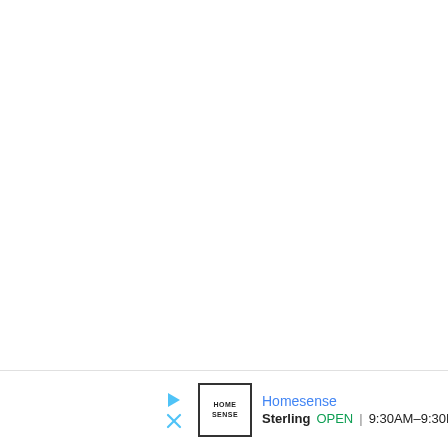[Figure (screenshot): Blank white area representing a map or web interface background]
Homesense
Sterling  OPEN  9:30AM–9:30PM